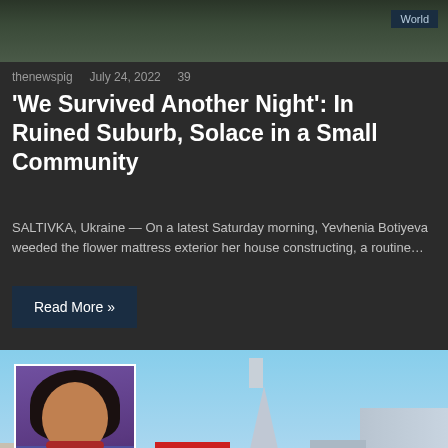[Figure (photo): Dark landscape/outdoor photo at top with World tag in upper right]
thenewspig   July 24, 2022   39
'We Survived Another Night': In Ruined Suburb, Solace in a Small Community
SALTIVKA, Ukraine — On a latest Saturday morning, Yevhenia Botiyeva weeded the flower mattress exterior her house constructing, a routine…
Read More »
[Figure (photo): San Francisco cityscape with Transamerica pyramid building and inset portrait photo of a woman in purple blazer with red necklace]